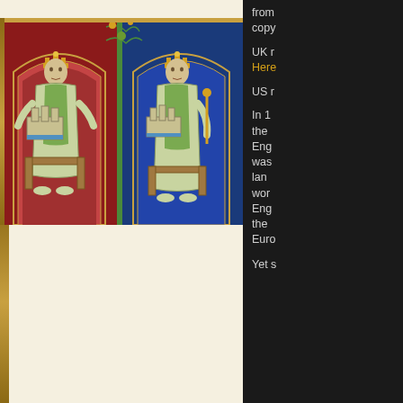[Figure (illustration): Book cover of 'King John, Henry III and England's Lost Civil War' featuring medieval illuminated manuscript illustrations of two seated kings, one against a red background and one against a blue background, both holding models of a building. The cover has a cream/parchment colored top section with decorative borders.]
KING JOHN, HENRY III
AND ENGLAND'S LOST CIVIL WAR
from copy
UK r Here
US r
In 1 the  Eng was  lan wor Eng the  Euro
Yet s